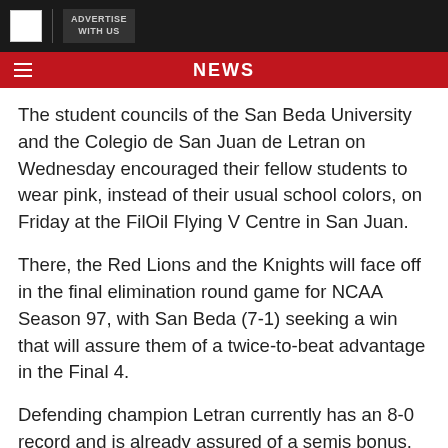NEWS
The student councils of the San Beda University and the Colegio de San Juan de Letran on Wednesday encouraged their fellow students to wear pink, instead of their usual school colors, on Friday at the FilOil Flying V Centre in San Juan.
There, the Red Lions and the Knights will face off in the final elimination round game for NCAA Season 97, with San Beda (7-1) seeking a win that will assure them of a twice-to-beat advantage in the Final 4.
Defending champion Letran currently has an 8-0 record and is already assured of a semis bonus.
Aside from the game, however, the student councils of both schools are also using the platform to highlight another cause.